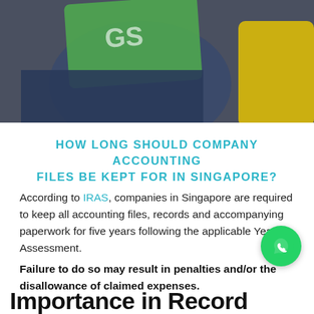[Figure (photo): A person holding a green sign and a yellow object, wearing blue jeans. The image is cropped showing mostly torso and hands.]
HOW LONG SHOULD COMPANY ACCOUNTING FILES BE KEPT FOR IN SINGAPORE?
According to IRAS, companies in Singapore are required to keep all accounting files, records and accompanying paperwork for five years following the applicable Year of Assessment.
Failure to do so may result in penalties and/or the disallowance of claimed expenses.
[Figure (logo): WhatsApp green circle logo icon]
Importance in Record